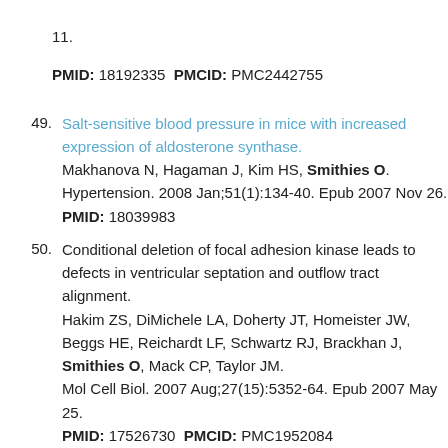PMID: 18192335 PMCID: PMC2442755
49. Salt-sensitive blood pressure in mice with increased expression of aldosterone synthase.
Makhanova N, Hagaman J, Kim HS, Smithies O.
Hypertension. 2008 Jan;51(1):134-40. Epub 2007 Nov 26.
PMID: 18039983
50. Conditional deletion of focal adhesion kinase leads to defects in ventricular septation and outflow tract alignment.
Hakim ZS, DiMichele LA, Doherty JT, Homeister JW, Beggs HE, Reichardt LF, Schwartz RJ, Brackhan J, Smithies O, Mack CP, Taylor JM.
Mol Cell Biol. 2007 Aug;27(15):5352-64. Epub 2007 May 25.
PMID: 17526730 PMCID: PMC1952084